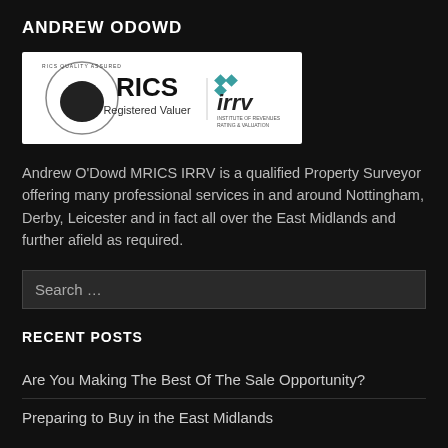ANDREW ODOWD
[Figure (logo): RICS Quality Assured Registered Valuer and IRRV (Institute of Revenues Rating & Valuation) logos on white background]
Andrew O'Dowd MRICS IRRV is a qualified Property Surveyor offering many professional services in and around Nottingham, Derby, Leicester and in fact all over the East Midlands and further afield as required.
Search …
RECENT POSTS
Are You Making The Best Of The Sale Opportunity?
Preparing to Buy in the East Midlands